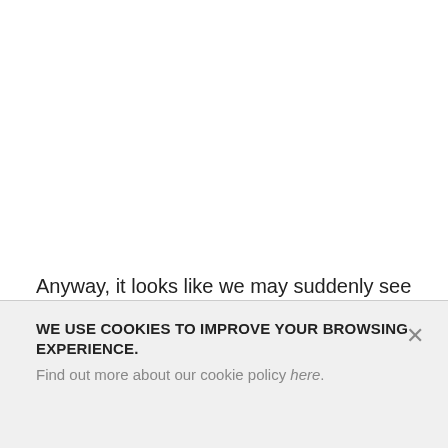Anyway, it looks like we may suddenly see a big performance boost, if you will, when the next version of Windows 10 appears in early 2019. I'm guessing that Microsoft has no plans to back-port this fix to
WE USE COOKIES TO IMPROVE YOUR BROWSING EXPERIENCE.
Find out more about our cookie policy here.